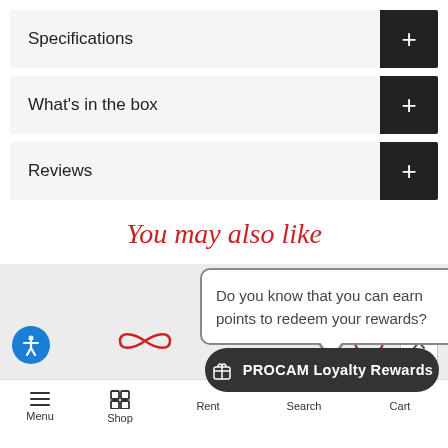Specifications
What's in the box
Reviews
You may also like
Do you know that you can earn points to redeem your rewards?
PROCAM Loyalty Rewards
Menu  Shop  Rent  Search  Cart